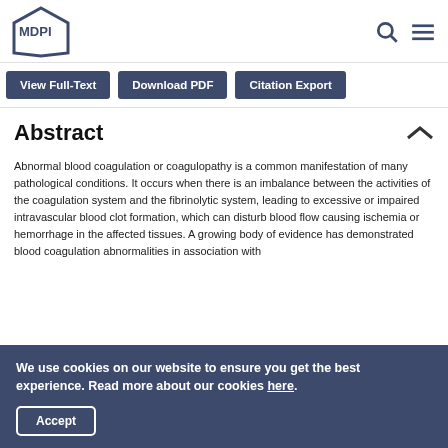MDPI
View Full-Text | Download PDF | Citation Export
Abstract
Abnormal blood coagulation or coagulopathy is a common manifestation of many pathological conditions. It occurs when there is an imbalance between the activities of the coagulation system and the fibrinolytic system, leading to excessive or impaired intravascular blood clot formation, which can disturb blood flow causing ischemia or hemorrhage in the affected tissues. A growing body of evidence has demonstrated blood coagulation abnormalities in association with
We use cookies on our website to ensure you get the best experience. Read more about our cookies here.
Accept